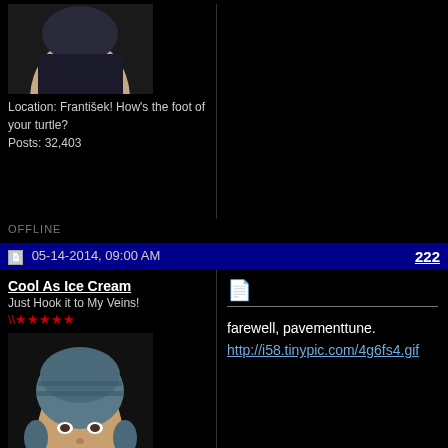Location: František! How's the foot of your turtle?
Posts: 32,403
OFFLINE
05-14-2014, 09:00 AM
222
Cool As Ice Cream
Just Hook it to My Veins!
[Figure (photo): User avatar photo of a person wearing a knit hat/beanie]
Location: František! How's the foot of your turtle?
Posts: 32,403
farewell, pavementtune.
http://i58.tinypic.com/4g6fs4.gif
OFFLINE